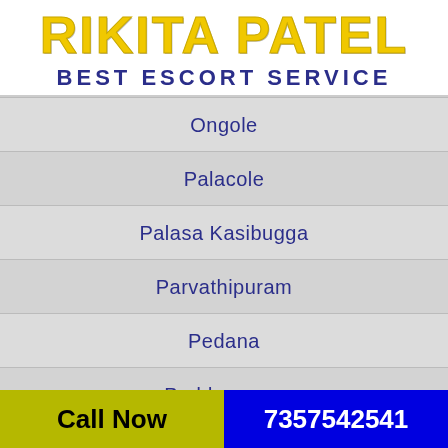RIKITA PATEL BEST ESCORT SERVICE
Ongole
Palacole
Palasa Kasibugga
Parvathipuram
Pedana
Peddapuram
Call Now   7357542541